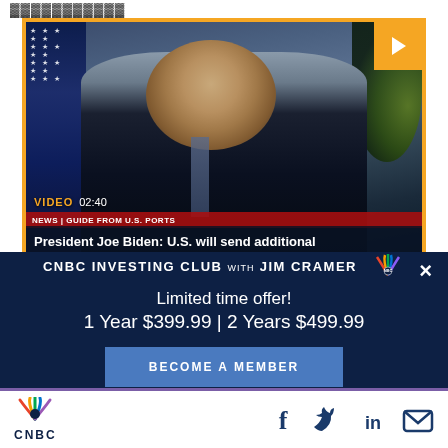[Figure (screenshot): Video thumbnail showing President Joe Biden speaking, with U.S. flag on left, bookshelves in background, and presidential seal on right. VIDEO 02:40 label at bottom. Title overlay: 'President Joe Biden: U.S. will send additional'. News ticker bar visible. Play button in top-right corner.]
CNBC INVESTING CLUB with JIM CRAMER
Limited time offer!
1 Year $399.99 | 2 Years $499.99
BECOME A MEMBER
[Figure (logo): CNBC peacock logo at bottom left]
[Figure (infographic): Social sharing icons: Facebook, Twitter, LinkedIn, Email]